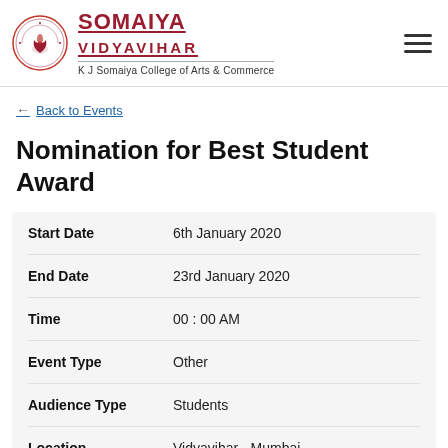[Figure (logo): Somaiya Vidyavihar logo with circular emblem and text 'K J Somaiya College of Arts & Commerce']
← Back to Events
Nomination for Best Student Award
| Field | Value |
| --- | --- |
| Start Date | 6th January 2020 |
| End Date | 23rd January 2020 |
| Time | 00 : 00 AM |
| Event Type | Other |
| Audience Type | Students |
| Location | Vidyavihar - Mumbai |
| Institution(s) | K J Somaiya College of Arts and |